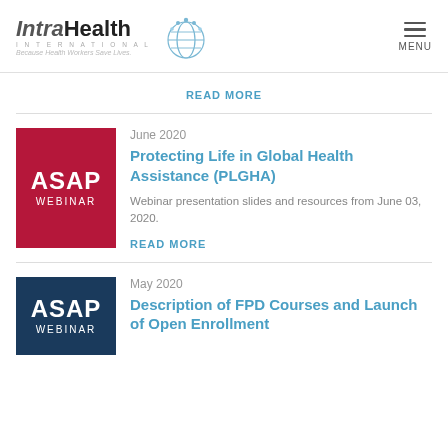IntraHealth International — Because Health Workers Save Lives
READ MORE
[Figure (other): Red ASAP WEBINAR thumbnail image]
June 2020
Protecting Life in Global Health Assistance (PLGHA)
Webinar presentation slides and resources from June 03, 2020.
READ MORE
[Figure (other): Navy blue ASAP WEBINAR thumbnail image (partial)]
May 2020
Description of FPD Courses and Launch of Open Enrollment